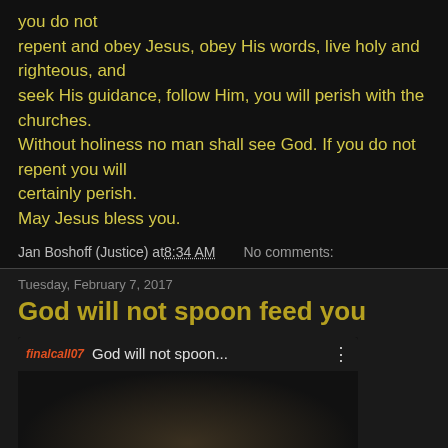you do not
repent and obey Jesus, obey His words, live holy and righteous, and
seek His guidance, follow Him, you will perish with the churches.
Without holiness no man shall see God. If you do not repent you will
certainly perish.
May Jesus bless you.
Jan Boshoff (Justice) at 8:34 AM   No comments:
Tuesday, February 7, 2017
God will not spoon feed you
[Figure (screenshot): YouTube video thumbnail showing 'finalcall07  God will not spoon...' with a play button overlay on a dark video frame]